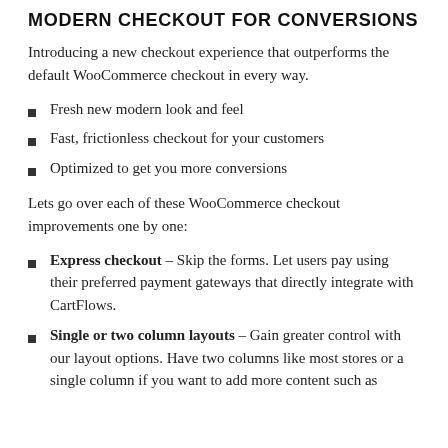MODERN CHECKOUT FOR CONVERSIONS
Introducing a new checkout experience that outperforms the default WooCommerce checkout in every way.
Fresh new modern look and feel
Fast, frictionless checkout for your customers
Optimized to get you more conversions
Lets go over each of these WooCommerce checkout improvements one by one:
Express checkout – Skip the forms. Let users pay using their preferred payment gateways that directly integrate with CartFlows.
Single or two column layouts – Gain greater control with our layout options. Have two columns like most stores or a single column if you want to add more content such as